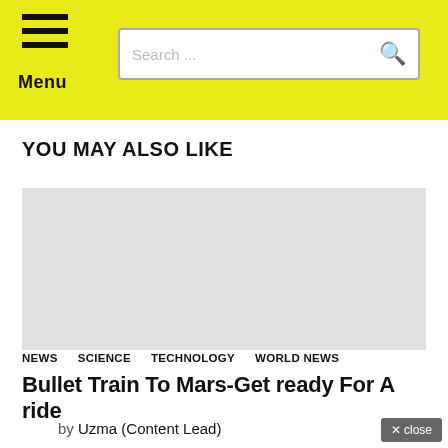Menu | Search ...
YOU MAY ALSO LIKE
[Figure (photo): Large grey placeholder image for article thumbnail]
NEWS   SCIENCE   TECHNOLOGY   WORLD NEWS
Bullet Train To Mars-Get ready For A ride
by Uzma (Content Lead)